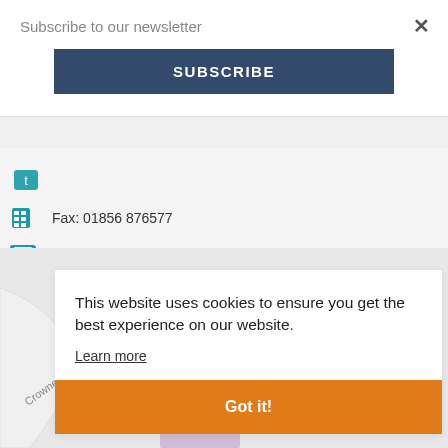Subscribe to our newsletter
SUBSCRIBE
Fax: 01856 876577
parts@orkneyfactors.co.uk: parts@orkneyfactors.co.uk
[Figure (map): Street/area map showing Crowne area]
This website uses cookies to ensure you get the best experience on our website.
Learn more
Got it!